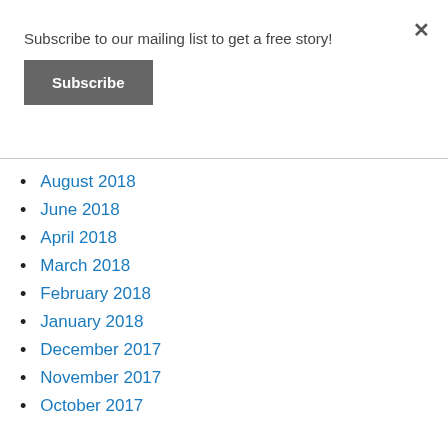Subscribe to our mailing list to get a free story!
Subscribe
August 2018
June 2018
April 2018
March 2018
February 2018
January 2018
December 2017
November 2017
October 2017